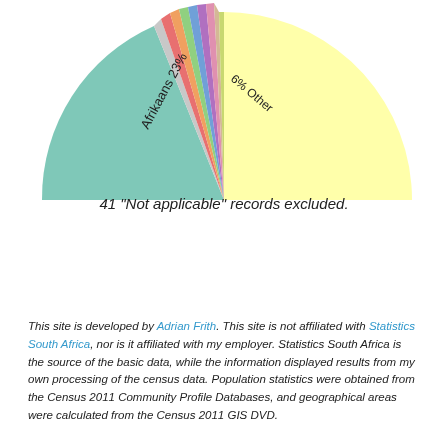[Figure (pie-chart): Partial pie chart showing Afrikaans 23%, a large yellow slice, and 6% Other with many small colored slices]
41 "Not applicable" records excluded.
Show table
This site is developed by Adrian Frith. This site is not affiliated with Statistics South Africa, nor is it affiliated with my employer. Statistics South Africa is the source of the basic data, while the information displayed results from my own processing of the census data. Population statistics were obtained from the Census 2011 Community Profile Databases, and geographical areas were calculated from the Census 2011 GIS DVD.